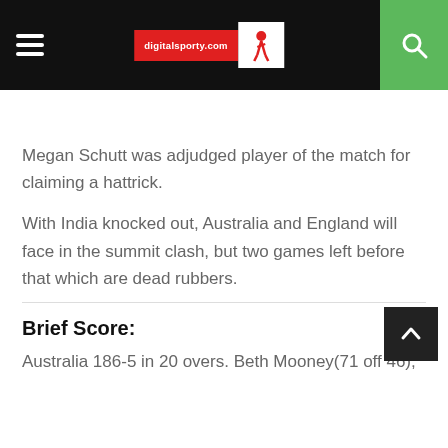digitalsporty.com
Megan Schutt was adjudged player of the match for claiming a hattrick.
With India knocked out, Australia and England will face in the summit clash, but two games left before that which are dead rubbers.
Brief Score:
Australia 186-5 in 20 overs. Beth Mooney(71 off 46),